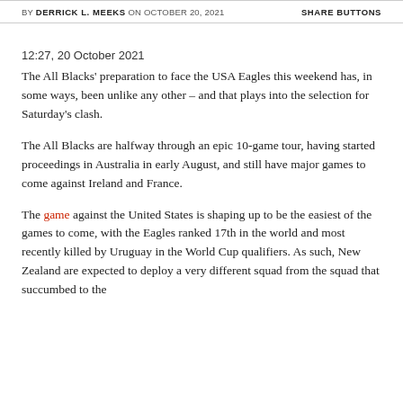BY DERRICK L. MEEKS ON OCTOBER 20, 2021   SHARE BUTTONS
12:27, 20 October 2021
The All Blacks' preparation to face the USA Eagles this weekend has, in some ways, been unlike any other – and that plays into the selection for Saturday's clash.
The All Blacks are halfway through an epic 10-game tour, having started proceedings in Australia in early August, and still have major games to come against Ireland and France.
The game against the United States is shaping up to be the easiest of the games to come, with the Eagles ranked 17th in the world and most recently killed by Uruguay in the World Cup qualifiers. As such, New Zealand are expected to deploy a very different squad from the squad that succumbed to the